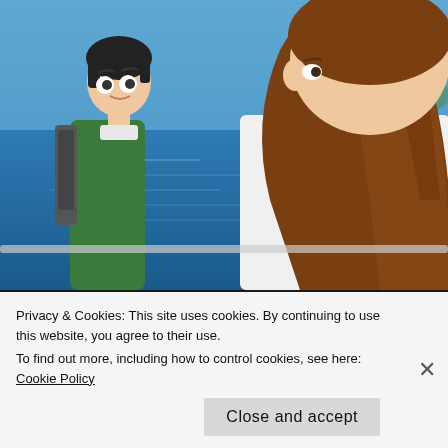[Figure (illustration): Anime screenshot showing two characters — a boy in a green jacket with a backpack looking surprised, and a girl with long brown hair in a white top, standing near water (ocean/sea visible in background with blue sky and hills)]
Once, in a blue moon, an anime gives you exactly what you want. This was one of those times. All I wanted was to bask in the adorable bliss of Takagi and Nishikata's 100% Unrequited Love: The Movie Date, and that is what I got. No school, no ancillary
Privacy & Cookies: This site uses cookies. By continuing to use this website, you agree to their use.
To find out more, including how to control cookies, see here: Cookie Policy
Close and accept